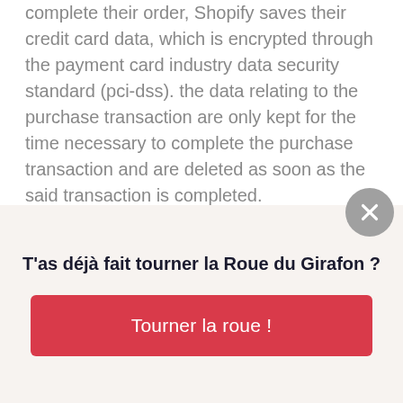complete their order, Shopify saves their credit card data, which is encrypted through the payment card industry data security standard (pci-dss). the data relating to the purchase transaction are only kept for the time necessary to complete the purchase transaction and are deleted as soon as the said transaction is completed.
all direct payment gateways adhere to the standards set by pci-dss, as managed by the pci security standards council, which is a collaborative effort between brands such as visa, mastercard, american express and discover. PCI-DSS requirements help ensure the secure handling of credit card information
[Figure (other): Red square button with white gift/present icon on the left side of the page]
[Figure (other): Grey circle close button with X icon on the right side]
T'as déjà fait tourner la Roue du Girafon ?
Tourner la roue !